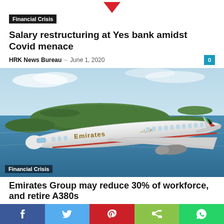[Figure (illustration): Red downward-pointing triangle icon at top center]
Financial Crisis
Salary restructuring at Yes bank amidst Covid menace
HRK News Bureau – June 1, 2020
[Figure (photo): Emirates Airlines aircraft flying over coastal water landscape with islands visible below. Financial Crisis label overlaid at bottom left.]
Emirates Group may reduce 30% of workforce, and retire A380s
[Figure (infographic): Social sharing bar at bottom with Facebook, Twitter, Pinterest, Share, and WhatsApp buttons]